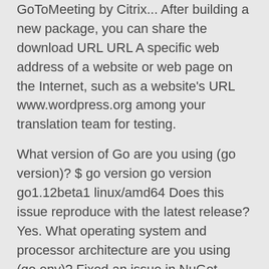GoToMeeting by Citrix... After building a new package, you can share the download URL URL A specific web address of a website or web page on the Internet, such as a website's URL www.wordpress.org among your translation team for testing.
What version of Go are you using (go version)? $ go version go version go1.12beta1 linux/amd64 Does this issue reproduce with the latest release? Yes. What operating system and processor architecture are you using (go env)? Fixed an issue in NuGet virtual repositories where if a certain package would exist in more than one of the aggregated repositories, Artifactory would return all of those packages when the NuGet client would ask for the latest version of... Advanced Packages include the ability to specify additional application-specific options. This is a deployment package for GoToMeeting by Citrix... After building a new package, you can share the download URL URL A specific web address of a website or web